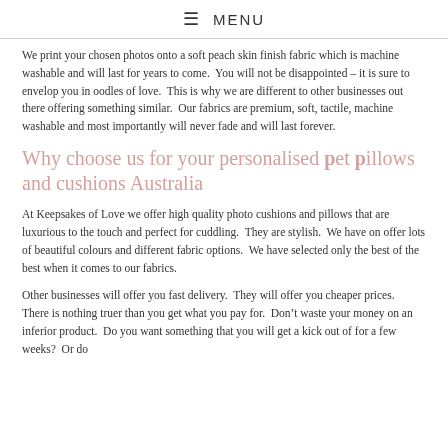≡ MENU
We print your chosen photos onto a soft peach skin finish fabric which is machine washable and will last for years to come.  You will not be disappointed – it is sure to envelop you in oodles of love.  This is why we are different to other businesses out there offering something similar.  Our fabrics are premium, soft, tactile, machine washable and most importantly will never fade and will last forever.
Why choose us for your personalised pet pillows and cushions Australia
At Keepsakes of Love we offer high quality photo cushions and pillows that are luxurious to the touch and perfect for cuddling.  They are stylish.  We have on offer lots of beautiful colours and different fabric options.  We have selected only the best of the best when it comes to our fabrics.
Other businesses will offer you fast delivery.  They will offer you cheaper prices.  There is nothing truer than you get what you pay for.  Don't waste your money on an inferior product.  Do you want something that you will get a kick out of for a few weeks?  Or do